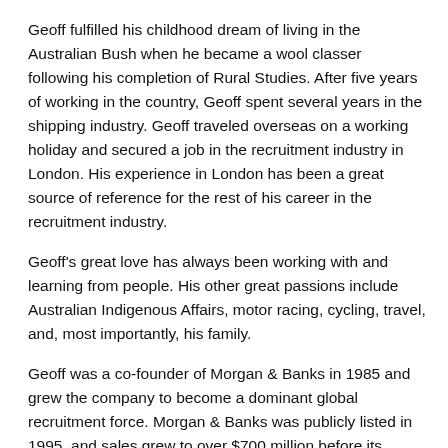Geoff fulfilled his childhood dream of living in the Australian Bush when he became a wool classer following his completion of Rural Studies. After five years of working in the country, Geoff spent several years in the shipping industry. Geoff traveled overseas on a working holiday and secured a job in the recruitment industry in London. His experience in London has been a great source of reference for the rest of his career in the recruitment industry.
Geoff's great love has always been working with and learning from people. His other great passions include Australian Indigenous Affairs, motor racing, cycling, travel, and, most importantly, his family.
Geoff was a co-founder of Morgan & Banks in 1985 and grew the company to become a dominant global recruitment force. Morgan & Banks was publicly listed in 1995, and sales grew to over $700 million before its acquisition by TMP/Monster.com in 1999. Talent2 was then established in 2003 and grew to be a global business acquired by Allegis Group – the largest private talent management firm in the world.
People are a passion for Geoff, and over 35 years, he has immersed himself in the work environment and employment industry globally and has helped many